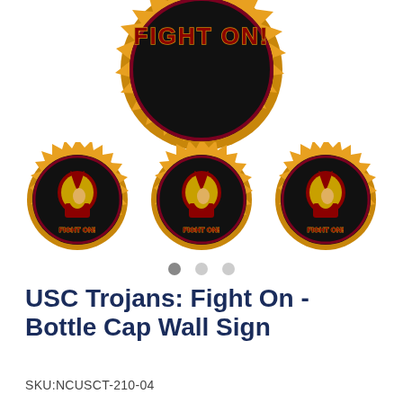[Figure (photo): USC Trojans Fight On Bottle Cap Wall Sign product images: one large bottle cap at top showing 'FIGHT ON!' text on black background with gold crimped edge, and three smaller bottle caps below each showing the USC Trojan helmet logo and 'FIGHT ON!' text on black background with gold edges]
USC Trojans: Fight On - Bottle Cap Wall Sign
SKU:NCUSCT-210-04